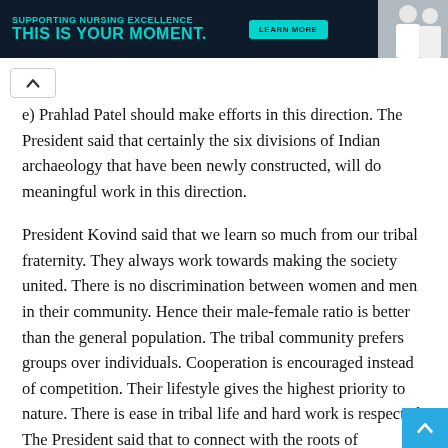[Figure (screenshot): Advertisement banner with dark navy background. Text reads 'THIS IS YOUR MOMENT.' in teal/cyan bold uppercase letters with a 'LEARN MORE' button and a photo of people on the right side.]
e) Prahlad Patel should make efforts in this direction. The President said that certainly the six divisions of Indian archaeology that have been newly constructed, will do meaningful work in this direction.
President Kovind said that we learn so much from our tribal fraternity. They always work towards making the society united. There is no discrimination between women and men in their community. Hence their male-female ratio is better than the general population. The tribal community prefers groups over individuals. Cooperation is encouraged instead of competition. Their lifestyle gives the highest priority to nature. There is ease in tribal life and hard work is respected. The President said that to connect with the roots of humanity, the life values of the tribal community must be inculcated in your lifestyle.